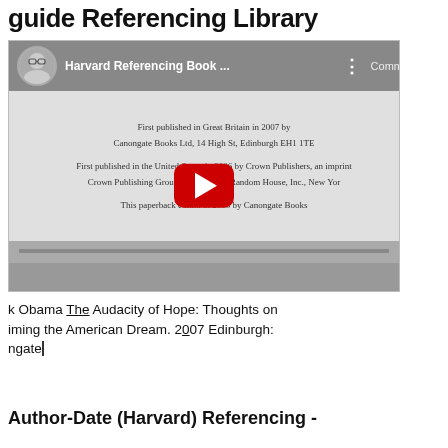guide Referencing Library
[Figure (screenshot): Screenshot of a YouTube video thumbnail showing 'Harvard Referencing Book ...' with a red play button overlay. The video content shows book copyright page text from 'The Audacity of Hope' and a text entry area below showing 'k Obama The Audacity of Hope: Thoughts on iming the American Dream. 2007 Edinburgh: ngate'.]
k Obama The Audacity of Hope: Thoughts on iming the American Dream. 2007 Edinburgh: ngate
Author-Date (Harvard) Referencing -